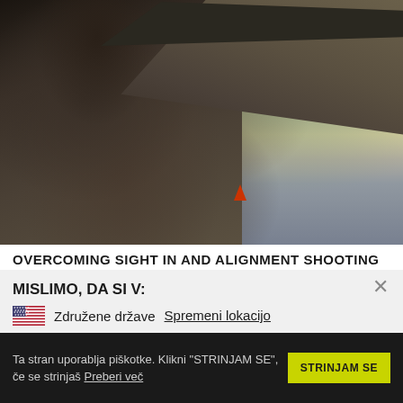[Figure (photo): Man with beard wearing cap, ear protection and sunglasses, holding up a rifle at a shooting range, with a red cone visible in the background]
OVERCOMING SIGHT IN AND ALIGNMENT SHOOTING
MISLIMO, DA SI V:
Združene države   Spremeni lokacijo
Ta stran uporablja piškotke. Klikni "STRINJAM SE", če se strinjaš Preberi več
STRINJAM SE